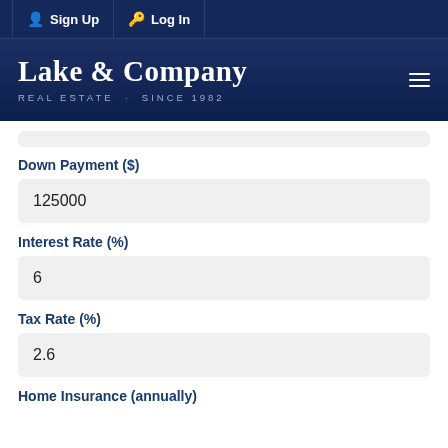Sign Up  Log In
[Figure (logo): Lake & Company Real Estate logo with tagline REAL ESTATE · SINCE 1982 on dark navy background]
Down Payment ($)
125000
Interest Rate (%)
6
Tax Rate (%)
2.6
Home Insurance (annually)